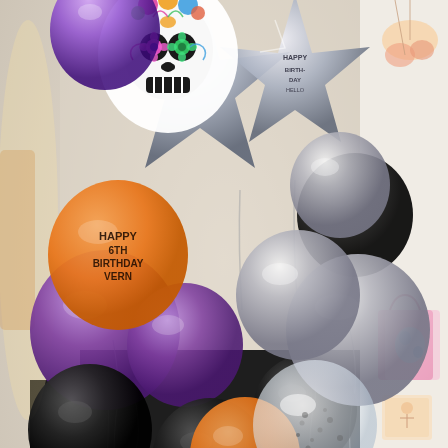[Figure (photo): A festive balloon arrangement photo showing a variety of balloons in a party setting. In the center-left area, orange balloons printed with 'HAPPY 6TH BIRTHDAY VERN' are visible, along with large chrome purple/violet balloons, black balloons, and a large sugar skull (Day of the Dead) foil balloon at the top. Silver star-shaped foil balloons and a 'HAPPY BIRTHDAY' foil balloon are visible in the upper center. On the right side are silver/grey balloons, black balloons, and clear confetti balloons. In the bottom portion of the image is a black t-shirt reading 'I'M IN VACATION MODE'. The very bottom strip shows mint/sage green balloons and silver glitter balloons arranged in a row. On the right edge are decorative items including pink gift bags and hanging decorations on a white wall. The background includes dark fabric/curtains.]